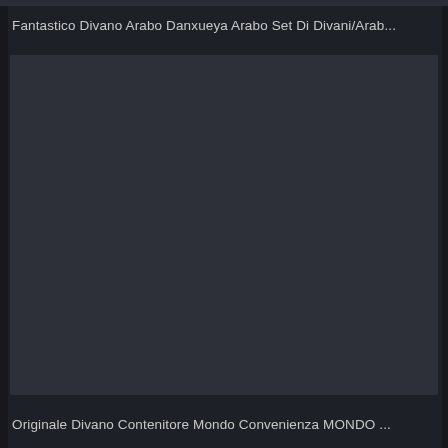Fantastico Divano Arabo Danxueya Arabo Set Di Divani/Arab...
[Figure (photo): Dark placeholder image box for a product photo, showing a dark gray rectangle with no visible content.]
Originale Divano Contenitore Mondo Convenienza MONDO ...